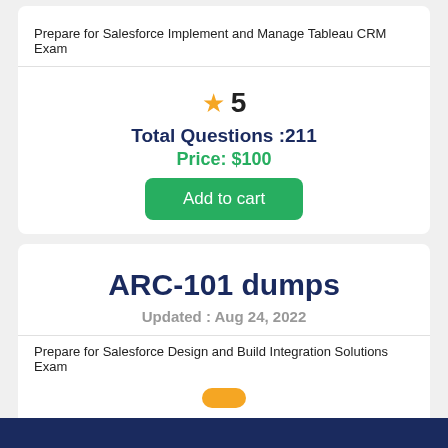Prepare for Salesforce Implement and Manage Tableau CRM Exam
★ 5
Total Questions :211
Price: $100
Add to cart
ARC-101 dumps
Updated : Aug 24, 2022
Prepare for Salesforce Design and Build Integration Solutions Exam
Total Questions :106
Price: $100
Add to cart